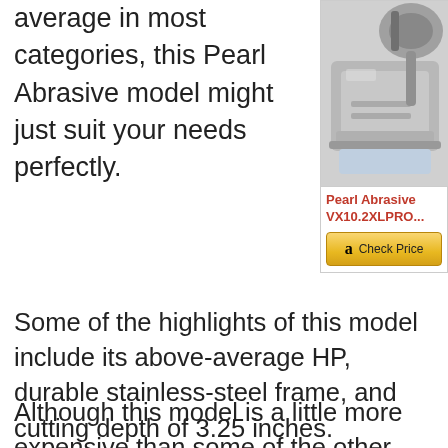average in most categories, this Pearl Abrasive model might just suit your needs perfectly.
[Figure (photo): Product photo of Pearl Abrasive VX10.2XLPRO wet tile saw, showing the machine from above/side angle with metallic grey components]
Pearl Abrasive VX10.2XLPRO...
Check Price
Some of the highlights of this model include its above-average HP, durable stainless-steel frame, and cutting depth of 3.25 inches.
Although this model is a little more expensive than some of the other wet tile saws featured here, it also outperforms much of the competition in terms of